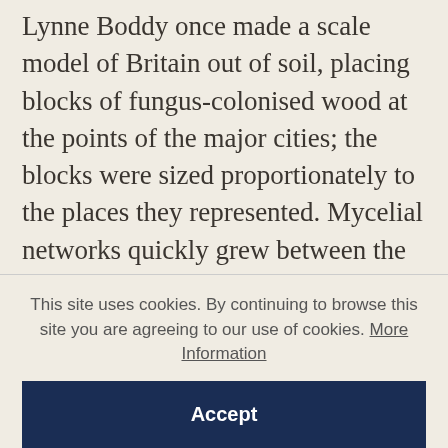Lynne Boddy once made a scale model of Britain out of soil, placing blocks of fungus-colonised wood at the points of the major cities; the blocks were sized proportionately to the places they represented. Mycelial networks quickly grew between the blocks: the web they created reproduced the pattern of the UK's motorways ('You could see the M5, M4, M1, M6'). Other researchers have set slime mould loose on tiny scale-models of Tokyo with food placed at the major hubs (in a single day they reproduced the
This site uses cookies. By continuing to browse this site you are agreeing to our use of cookies. More Information
Accept